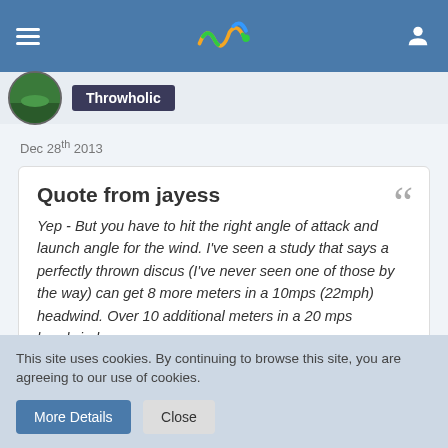Wrowr app header with hamburger menu, logo, and user icon
Throwholic
Dec 28th 2013
Quote from jayess
Yep - But you have to hit the right angle of attack and launch angle for the wind. I've seen a study that says a perfectly thrown discus (I've never seen one of those by the way) can get 8 more meters in a 10mps (22mph) headwind. Over 10 additional meters in a 20 mps headwind.
published at Aug 29th 2007 1:16am on http://www.effortlessthrow.org/
This site uses cookies. By continuing to browse this site, you are agreeing to our use of cookies.